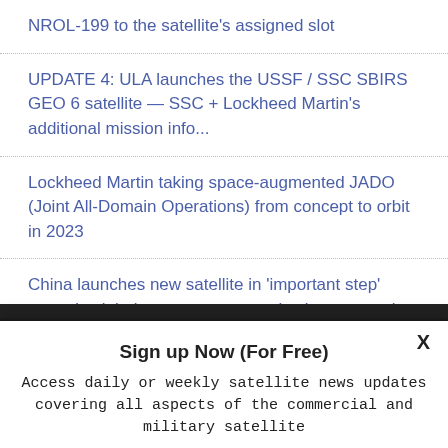NROL-199 to the satellite's assigned slot
UPDATE 4: ULA launches the USSF / SSC SBIRS GEO 6 satellite — SSC + Lockheed Martin's additional mission info...
Lockheed Martin taking space-augmented JADO (Joint All-Domain Operations) from concept to orbit in 2023
China launches new satellite in 'important step' towards global quantum communications network
Sign up Now (For Free)
Access daily or weekly satellite news updates covering all aspects of the commercial and military satellite